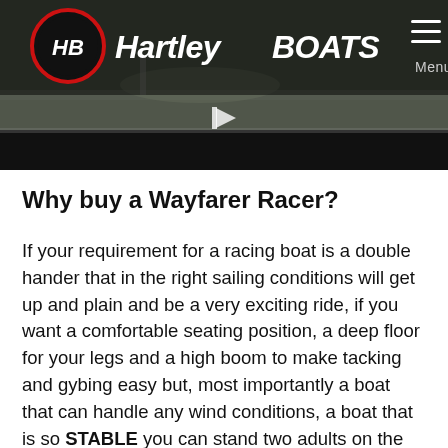[Figure (screenshot): Hartley Boats website header with logo on dark semi-transparent navigation bar over a sailing/boat background image, with hamburger menu icon and Menu label on the right]
Why buy a Wayfarer Racer?
If your requirement for a racing boat is a double hander that in the right sailing conditions will get up and plain and be a very exciting ride, if you want a comfortable seating position, a deep floor for your legs and a high boom to make tacking and gybing easy but, most importantly a boat that can handle any wind conditions, a boat that is so STABLE you can stand two adults on the side-deck without the boat capsizing, a boat that